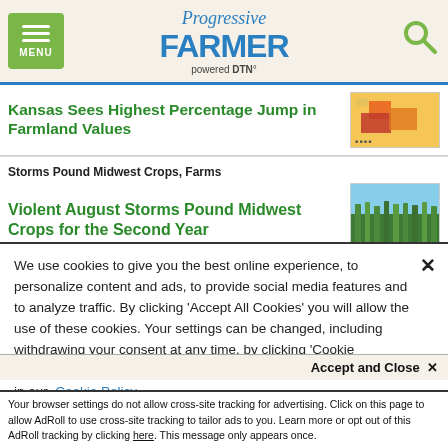Progressive FARMER powered by DTN
Kansas Sees Highest Percentage Jump in Farmland Values
Storms Pound Midwest Crops, Farms
Violent August Storms Pound Midwest Crops for the Second Year
We use cookies to give you the best online experience, to personalize content and ads, to provide social media features and to analyze traffic. By clicking 'Accept All Cookies' you will allow the use of these cookies. Your settings can be changed, including withdrawing your consent at any time, by clicking 'Cookie Settings'. Find out more on how we and third parties use cookies in our Cookie Policy
Accept and Close ×
Your browser settings do not allow cross-site tracking for advertising. Click on this page to allow AdRoll to use cross-site tracking to tailor ads to you. Learn more or opt out of this AdRoll tracking by clicking here. This message only appears once.